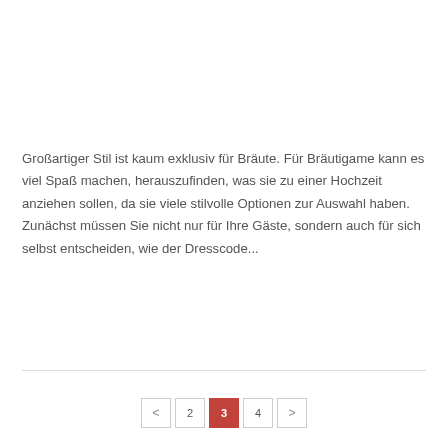Großartiger Stil ist kaum exklusiv für Bräute. Für Bräutigame kann es viel Spaß machen, herauszufinden, was sie zu einer Hochzeit anziehen sollen, da sie viele stilvolle Optionen zur Auswahl haben. Zunächst müssen Sie nicht nur für Ihre Gäste, sondern auch für sich selbst entscheiden, wie der Dresscode...
READ MORE
< 2 3 4 >